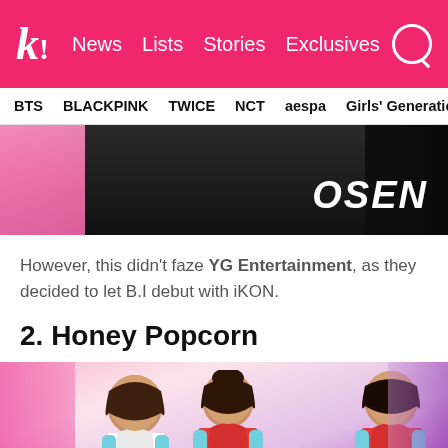k! News  Lists  Stories  Exclusives
BTS  BLACKPINK  TWICE  NCT  aespa  Girls' Generation
[Figure (photo): Dark concert/event photo with OSEN watermark in white text on black background, with pink elements on left side]
However, this didn't faze YG Entertainment, as they decided to let B.I debut with iKON.
2. Honey Popcorn
[Figure (photo): Photo of Honey Popcorn K-pop girl group, three members in colorful outfits (red/white and teal) with dark hair, smiling on stage with pink and purple background]